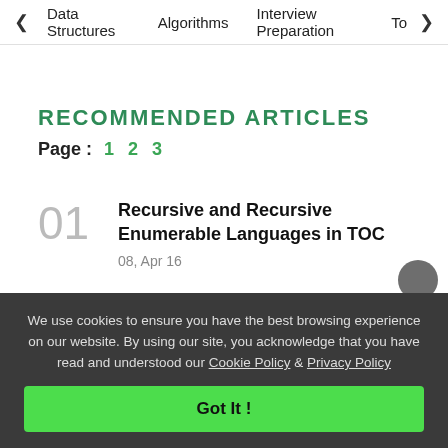< Data Structures   Algorithms   Interview Preparation   To>
RECOMMENDED ARTICLES
Page : 1 2 3
01 Recursive and Recursive Enumerable Languages in TOC 08, Apr 16
We use cookies to ensure you have the best browsing experience on our website. By using our site, you acknowledge that you have read and understood our Cookie Policy & Privacy Policy
Got It !